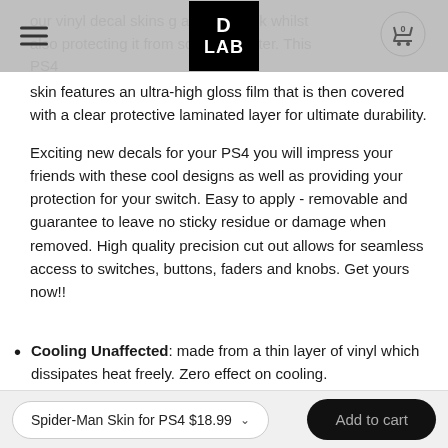D LAB
our vinyl decal skins gi a stylish look whilst also protecting it from sc rt and water. This PS4 skin features an ultra-high gloss film that is then covered with a clear protective laminated layer for ultimate durability.
Exciting new decals for your PS4 you will impress your friends with these cool designs as well as providing your protection for your switch. Easy to apply - removable and guarantee to leave no sticky residue or damage when removed. High quality precision cut out allows for seamless access to switches, buttons, faders and knobs. Get yours now!!
Cooling Unaffected: made from a thin layer of vinyl which dissipates heat freely. Zero effect on cooling.
Spider-Man Skin for PS4 $18.99  Add to cart